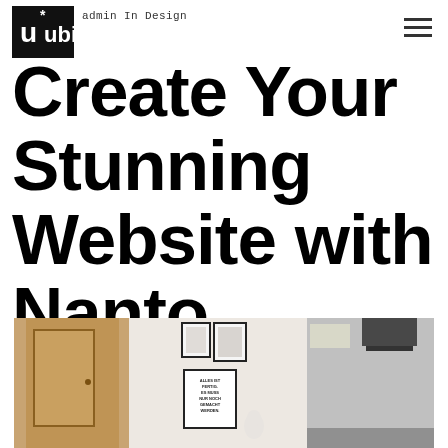admin In Design
Create Your Stunning Website with Nanto
[Figure (photo): Interior room photo showing a hallway with a wooden door on the left, a white wall with framed artwork and a typographic poster reading 'ALLES IST FERTIG. ES MUSS NUR NOCH GEMACHT WERDEN.' in the center, and a kitchen with a range hood on the right.]